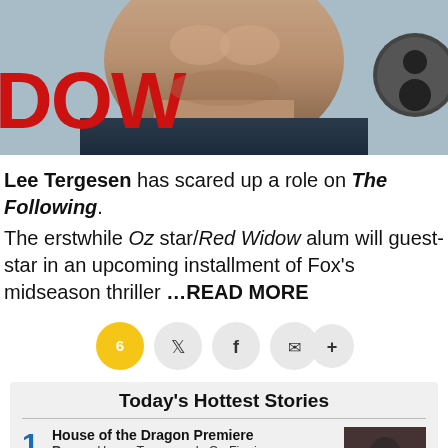[Figure (photo): Close-up photo of Lee Tergesen's face/neck at an event, with partial red text 'DOW' visible on a banner behind him and a circular logo on the right]
Lee Tergesen has scared up a role on The Following.
The erstwhile Oz star/Red Widow alum will guest-star in an upcoming installment of Fox's midseason thriller ...READ MORE
[Figure (infographic): Social sharing bar with comment count (6), Twitter, Facebook, email, and more (+) buttons]
Today's Hottest Stories
House of the Dragon Premiere Recap: House Targaryon Is On Fire in...